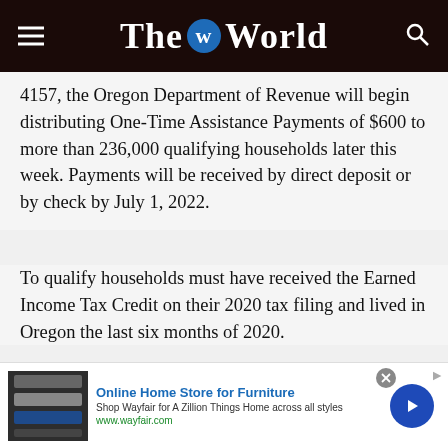The World
4157, the Oregon Department of Revenue will begin distributing One-Time Assistance Payments of $600 to more than 236,000 qualifying households later this week. Payments will be received by direct deposit or by check by July 1, 2022.
To qualify households must have received the Earned Income Tax Credit on their 2020 tax filing and lived in Oregon the last six months of 2020.
[Figure (photo): Red Door real estate advertisement featuring Shana Jo Armstrong, Principal Broker, GRI, with red and yellow text on black background]
[Figure (photo): Wayfair Online Home Store for Furniture advertisement with furniture thumbnail image, blue arrow button]